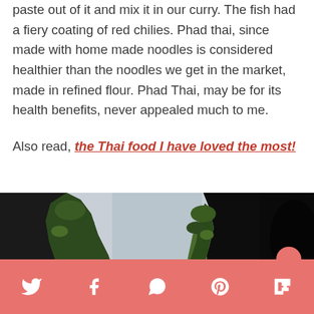paste out of it and mix it in our curry. The fish had a fiery coating of red chilies. Phad thai, since made with home made noodles is considered healthier than the noodles we get in the market, made in refined flour. Phad Thai, may be for its health benefits, never appealed much to me.
Also read, the Thai food I have loved the most!
[Figure (photo): Tall limestone karst cliffs covered in tropical green vegetation rising on both sides, with a narrow waterway or passage between them and a pale overcast sky in the background.]
Social sharing bar with Twitter, Facebook, WhatsApp, Pinterest, and Flipboard icons on a salmon/coral pink background.